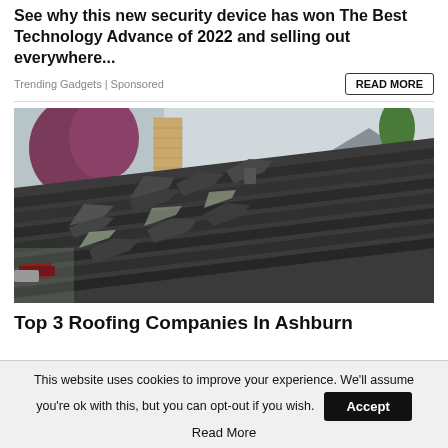See why this new security device has won The Best Technology Advance of 2022 and selling out everywhere...
Trending Gadgets | Sponsored
READ MORE
[Figure (photo): Damaged residential roof with cracked and lifted asphalt shingles, a brick chimney visible, and surrounding trees and houses in the background.]
Top 3 Roofing Companies In Ashburn
This website uses cookies to improve your experience. We'll assume you're ok with this, but you can opt-out if you wish.
Accept
Read More